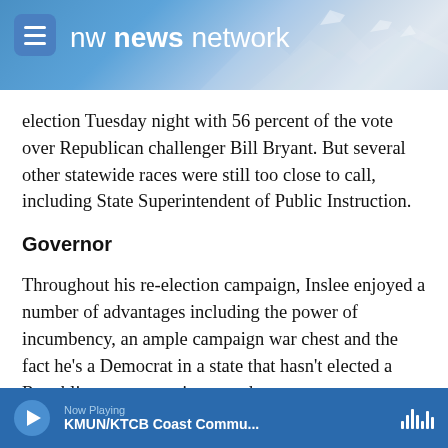nw news network
election Tuesday night with 56 percent of the vote over Republican challenger Bill Bryant. But several other statewide races were still too close to call, including State Superintendent of Public Instruction.
Governor
Throughout his re-election campaign, Inslee enjoyed a number of advantages including the power of incumbency, an ample campaign war chest and the fact he’s a Democrat in a state that hasn’t elected a Republican governor in more than
Now Playing KMUN/KTCB Coast Commu...